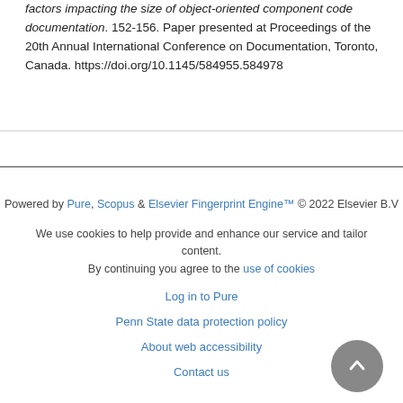factors impacting the size of object-oriented component code documentation. 152-156. Paper presented at Proceedings of the 20th Annual International Conference on Documentation, Toronto, Canada. https://doi.org/10.1145/584955.584978
Powered by Pure, Scopus & Elsevier Fingerprint Engine™ © 2022 Elsevier B.V

We use cookies to help provide and enhance our service and tailor content. By continuing you agree to the use of cookies

Log in to Pure

Penn State data protection policy

About web accessibility

Contact us